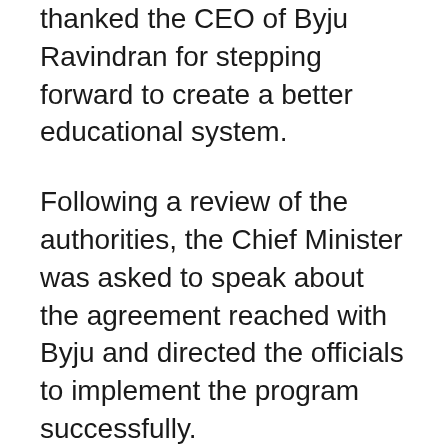thanked the CEO of Byju Ravindran for stepping forward to create a better educational system.
Following a review of the authorities, the Chief Minister was asked to speak about the agreement reached with Byju and directed the officials to implement the program successfully.
The authorities were instructed to work towards the introduction of Byju’s content into textbook format both in English in addition to Telugu mediums. In addition, he requested the authorities to install televisions in every classroom in the Nadu-Nedu program to provide visual content to students. He emphasized the importance of